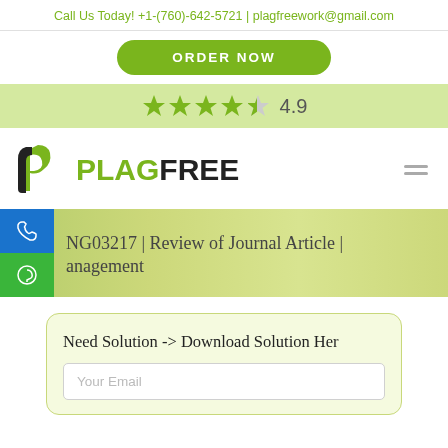Call Us Today! +1-(760)-642-5721 | plagfreework@gmail.com
ORDER NOW
[Figure (infographic): Star rating bar showing 4.5 stars out of 5 with rating 4.9]
[Figure (logo): PlagFree logo with green P icon and PLAGFREE text]
NG03217 | Review of Journal Article | anagement
Need Solution -> Download Solution Here
Your Email